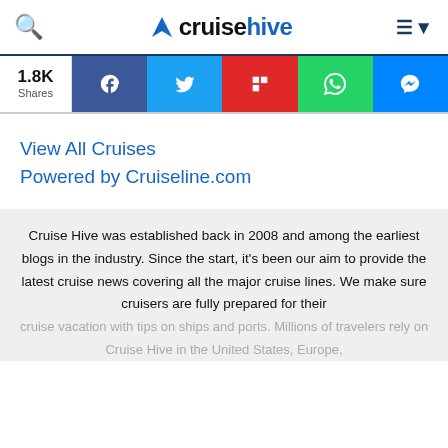cruisehive
[Figure (screenshot): Social share bar with 1.8K Shares count and buttons for Facebook, Twitter, Flipboard, WhatsApp, and Messenger]
View All Cruises
Powered by Cruiseline.com
Cruise Hive was established back in 2008 and among the earliest blogs in the industry. Since the start, it's been our aim to provide the latest cruise news covering all the major cruise lines. We make sure cruisers are fully prepared for their cruise vacation with tips on ships and ports. Millions of travelers rely on Cruise Hive in the United States, Europe,